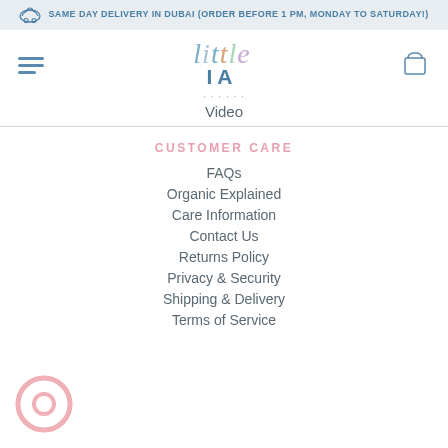SAME DAY DELIVERY IN DUBAI (ORDER BEFORE 1 PM, MONDAY TO SATURDAY!)
[Figure (logo): Little IA brand logo with stylized 'little' in cursive and 'IA' in bold blue sans-serif]
Video
CUSTOMER CARE
FAQs
Organic Explained
Care Information
Contact Us
Returns Policy
Privacy & Security
Shipping & Delivery
Terms of Service